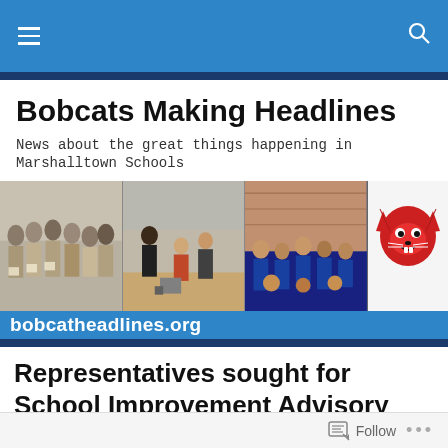Navigation bar with menu and search icons
Bobcats Making Headlines
News about the great things happening in Marshalltown Schools
[Figure (photo): Banner image with three group photos of students and a bobcat mascot logo, with the text 'bobcatheadlines.org' overlaid on a blue bar]
Representatives sought for School Improvement Advisory Committee
Follow button and options menu at bottom of page